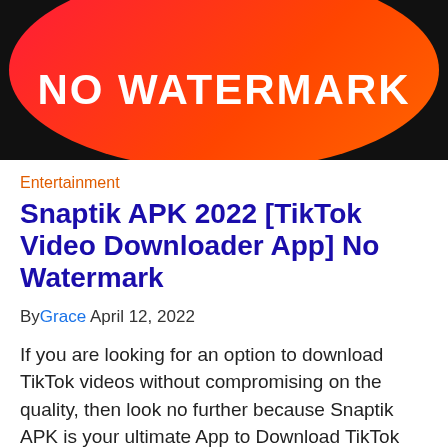[Figure (illustration): A red-orange gradient oval/pill shape on a black background with white bold text reading 'NO WATERMARK']
Entertainment
Snaptik APK 2022 [TikTok Video Downloader App] No Watermark
ByGrace April 12, 2022
If you are looking for an option to download TikTok videos without compromising on the quality, then look no further because Snaptik APK is your ultimate App to Download TikTok...